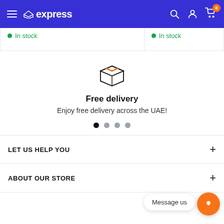express — navigation header with hamburger menu, search, account, and cart icons
In stock
In stock
[Figure (illustration): Package/box icon with orange stripe lines on top]
Free delivery
Enjoy free delivery across the UAE!
Carousel dots: 4 dots, first is active
LET US HELP YOU
ABOUT OUR STORE
Message us